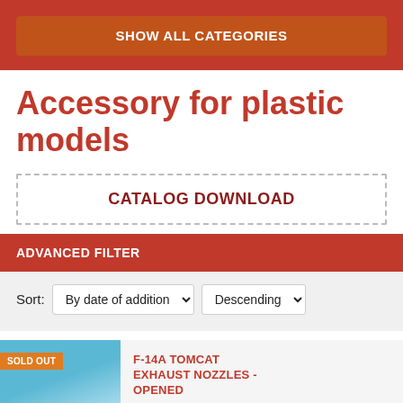SHOW ALL CATEGORIES
Accessory for plastic models
CATALOG DOWNLOAD
ADVANCED FILTER
Sort: By date of addition | Descending
SOLD OUT
F-14A TOMCAT EXHAUST NOZZLES - OPENED